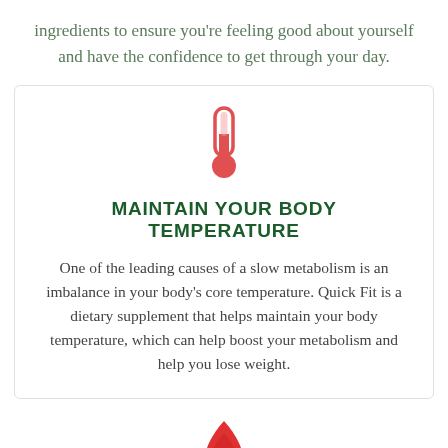ingredients to ensure you're feeling good about yourself and have the confidence to get through your day.
[Figure (illustration): Red thermometer icon]
MAINTAIN YOUR BODY TEMPERATURE
One of the leading causes of a slow metabolism is an imbalance in your body's core temperature. Quick Fit is a dietary supplement that helps maintain your body temperature, which can help boost your metabolism and help you lose weight.
[Figure (illustration): Red flame/fire droplet icon]